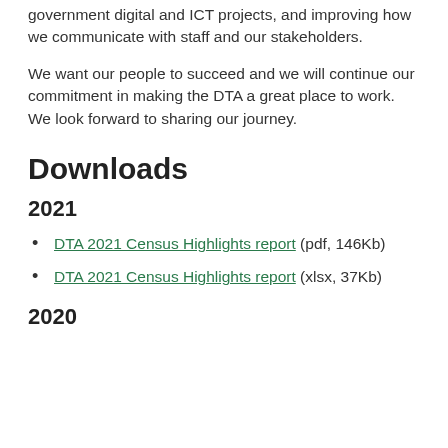government digital and ICT projects, and improving how we communicate with staff and our stakeholders.
We want our people to succeed and we will continue our commitment in making the DTA a great place to work. We look forward to sharing our journey.
Downloads
2021
DTA 2021 Census Highlights report (pdf, 146Kb)
DTA 2021 Census Highlights report (xlsx, 37Kb)
2020